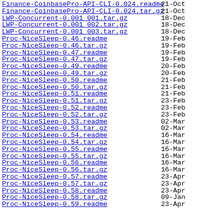Finance-CoinbasePro-API-CLI-0.024.readme   21-Oct
Finance-CoinbasePro-API-CLI-0.024.tar.gz   21-Oct
LWP-Concurrent-0.001_001.tar.gz   18-Dec
LWP-Concurrent-0.001_002.tar.gz   18-Dec
LWP-Concurrent-0.001_003.tar.gz   18-Dec
Proc-NiceSleep-0.46.readme   19-Feb
Proc-NiceSleep-0.46.tar.gz   19-Feb
Proc-NiceSleep-0.47.readme   19-Feb
Proc-NiceSleep-0.47.tar.gz   19-Feb
Proc-NiceSleep-0.49.readme   20-Feb
Proc-NiceSleep-0.49.tar.gz   20-Feb
Proc-NiceSleep-0.50.readme   21-Feb
Proc-NiceSleep-0.50.tar.gz   21-Feb
Proc-NiceSleep-0.51.readme   21-Feb
Proc-NiceSleep-0.51.tar.gz   23-Feb
Proc-NiceSleep-0.52.readme   23-Feb
Proc-NiceSleep-0.52.tar.gz   23-Feb
Proc-NiceSleep-0.53.readme   02-Mar
Proc-NiceSleep-0.53.tar.gz   02-Mar
Proc-NiceSleep-0.54.readme   16-Mar
Proc-NiceSleep-0.54.tar.gz   16-Mar
Proc-NiceSleep-0.55.readme   16-Mar
Proc-NiceSleep-0.55.tar.gz   16-Mar
Proc-NiceSleep-0.56.readme   16-Mar
Proc-NiceSleep-0.56.tar.gz   16-Mar
Proc-NiceSleep-0.57.readme   23-Apr
Proc-NiceSleep-0.57.tar.gz   23-Apr
Proc-NiceSleep-0.58.readme   23-Apr
Proc-NiceSleep-0.58.tar.gz   09-Jan
Proc-NiceSleep-0.59.readme   23-Apr